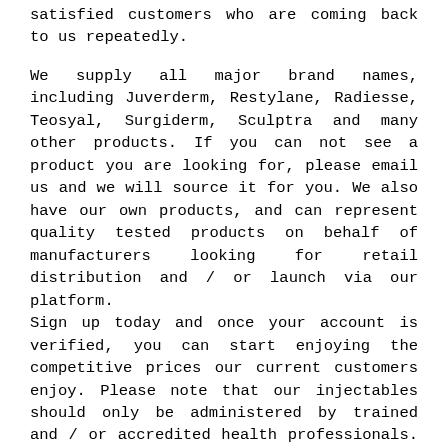satisfied customers who are coming back to us repeatedly.
We supply all major brand names, including Juverderm, Restylane, Radiesse, Teosyal, Surgiderm, Sculptra and many other products. If you can not see a product you are looking for, please email us and we will source it for you. We also have our own products, and can represent quality tested products on behalf of manufacturers looking for retail distribution and / or launch via our platform.
Sign up today and once your account is verified, you can start enjoying the competitive prices our current customers enjoy. Please note that our injectables should only be administered by trained and / or accredited health professionals. If you have an interest in knowing the non-surgical procedures, we have our own training division led by experienced and skilled